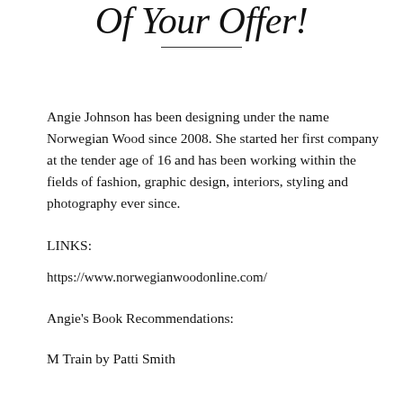Of Your Offer!
Angie Johnson has been designing under the name Norwegian Wood since 2008. She started her first company at the tender age of 16 and has been working within the fields of fashion, graphic design, interiors, styling and photography ever since.
LINKS:
https://www.norwegianwoodonline.com/
Angie's Book Recommendations:
M Train by Patti Smith